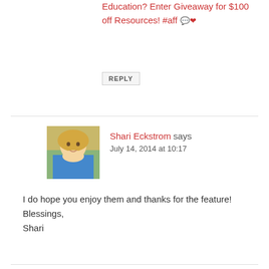Education? Enter Giveaway for $100 off Resources! #aff 💬❤
REPLY
[Figure (photo): Profile photo of Shari Eckstrom, a woman with blonde hair wearing a blue jacket]
Shari Eckstrom says
July 14, 2014 at 10:17
I do hope you enjoy them and thanks for the feature!
Blessings,
Shari
REPLY